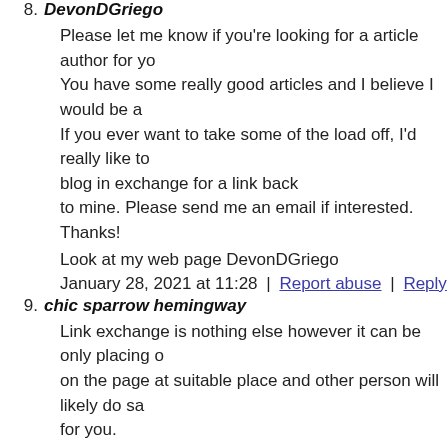8. DevonDGriego
Please let me know if you're looking for a article author for yo You have some really good articles and I believe I would be a If you ever want to take some of the load off, I'd really like to blog in exchange for a link back to mine. Please send me an email if interested. Thanks!
Look at my web page DevonDGriego
January 28, 2021 at 11:28 | Report abuse | Reply
9. chic sparrow hemingway
Link exchange is nothing else however it can be only placing o on the page at suitable place and other person will likely do sa for you.
Here is my web blog – chic sparrow hemingway
January 28, 2021 at 15:26 | Report abuse | Reply
10. Jim Pomykala
https://www.electricpercolatorcoffeepot.com/10-top-coffee-bl
January 28, 2021 at 22:07 | Report abuse | Reply